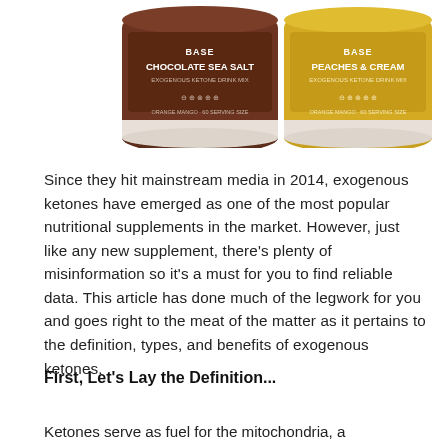[Figure (photo): Two supplement powder containers: a brown jar labeled 'Chocolate Sea Salt' and a yellow jar labeled 'Peaches & Cream', both shown from above cropped at the top of the image.]
Since they hit mainstream media in 2014, exogenous ketones have emerged as one of the most popular nutritional supplements in the market. However, just like any new supplement, there's plenty of misinformation so it's a must for you to find reliable data. This article has done much of the legwork for you and goes right to the meat of the matter as it pertains to the definition, types, and benefits of exogenous ketones.
First, Let's Lay the Definition...
Ketones serve as fuel for the mitochondria, a